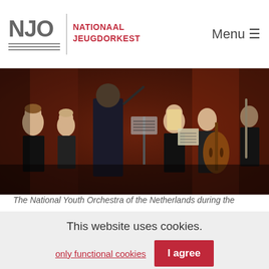NJO NATIONAAL JEUGDORKEST | Menu
[Figure (photo): Orchestra musicians on stage, performing with string instruments including cellos and violins, conductor visible from behind, red/dark background]
The National Youth Orchestra of the Netherlands during the
This website uses cookies.
only functional cookies    I agree
Please read out Privacy and cookies Statement for more information.